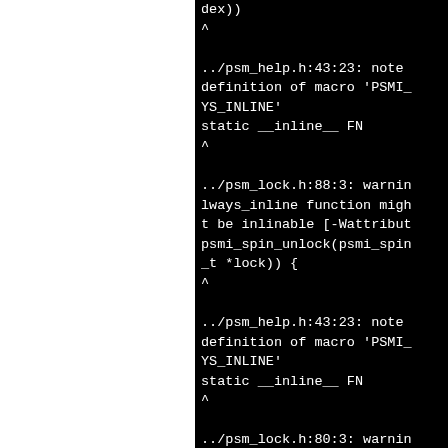dex))
^
../psm_help.h:43:23: note: definition of macro 'PSMI_YS_INLINE'
static __inline__ FN
^
../psm_lock.h:88:3: warning: always_inline function might not be inlinable [-Wattributes]
psmi_spin_unlock(psmi_spin_t *lock)) {
^
../psm_help.h:43:23: note: definition of macro 'PSMI_YS_INLINE'
static __inline__ FN
^
../psm_lock.h:80:3: warning: always_inline function might not be inlinable [-Wattributes]
psmi_spin_lock(psmi_spinlo*lock)) {
^